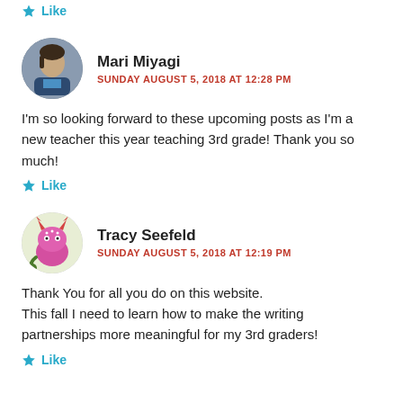Like
[Figure (photo): Round avatar photo of Mari Miyagi, a woman in a dark blazer]
Mari Miyagi
SUNDAY AUGUST 5, 2018 AT 12:28 PM
I'm so looking forward to these upcoming posts as I'm a new teacher this year teaching 3rd grade! Thank you so much!
Like
[Figure (illustration): Round avatar illustration of a pink monster character (Tracy Seefeld)]
Tracy Seefeld
SUNDAY AUGUST 5, 2018 AT 12:19 PM
Thank You for all you do on this website.
This fall I need to learn how to make the writing partnerships more meaningful for my 3rd graders!
Like